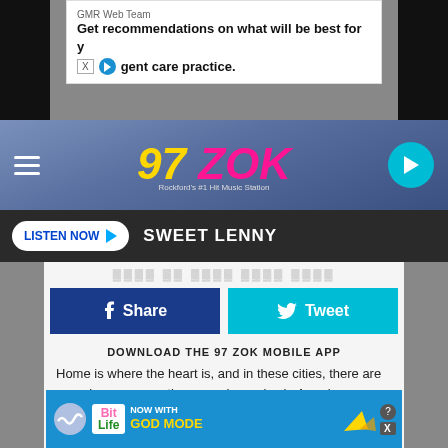[Figure (screenshot): Top advertisement banner: GMR Web Team - Get recommendations on what will be best for your urgent care practice.]
[Figure (logo): 97 ZOK radio station logo - Rockford's #1 Hit Music Station]
LISTEN NOW  SWEET LENNY
[Figure (screenshot): Share and Tweet social media buttons]
DOWNLOAD THE 97 ZOK MOBILE APP
Home is where the heart is, and in these cities, there are more homeowners than anywhere else in America.
[Figure (screenshot): GET OUR FREE MOBILE APP button]
It's your pride. It's your security. It's the place you wake up every morning
Also listen on:  amazon alexa
your home, and owning that home is a major accom
[Figure (screenshot): BitLife advertisement banner - NOW WITH GOD MODE]